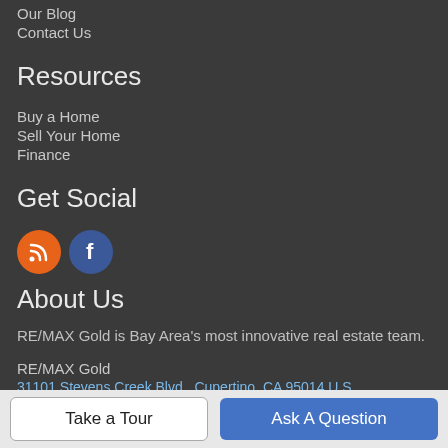Our Blog
Contact Us
Resources
Buy a Home
Sell Your Home
Finance
Get Social
[Figure (illustration): RSS icon (orange circle) and Facebook icon (blue circle)]
About Us
RE/MAX Gold is Bay Area's most innovative real estate team.
RE/MAX Gold
31101 Stevens Creek Blvd., Cupertino, CA 95014 U.S.
Take a Tour
Ask A Question